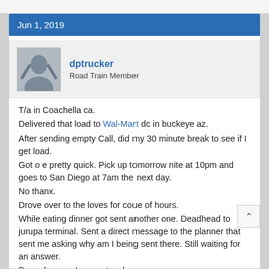Jun 1, 2019
dptrucker
Road Train Member
T/a in Coachella ca.
Delivered that load to Wal-Mart dc in buckeye az.
After sending empty Call, did my 30 minute break to see if I get load.
Got o e pretty quick. Pick up tomorrow nite at 10pm and goes to San Diego at 7am the next day.
No thanx.
Drove over to the loves for coue of hours.
While eating dinner got sent another one. Deadhead to jurupa terminal. Sent a direct message to the planner that sent me asking why am I being sent there. Still waiting for an answer.
Drove here so I can get a shower.